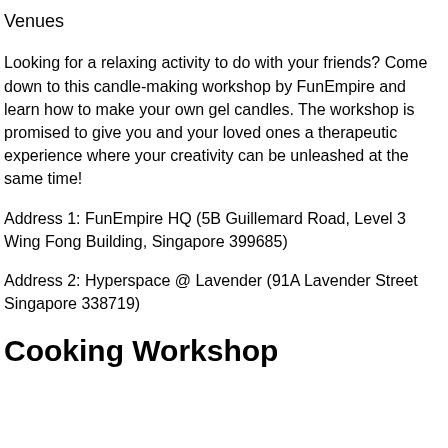Venues
Looking for a relaxing activity to do with your friends? Come down to this candle-making workshop by FunEmpire and learn how to make your own gel candles. The workshop is promised to give you and your loved ones a therapeutic experience where your creativity can be unleashed at the same time!
Address 1: FunEmpire HQ (5B Guillemard Road, Level 3 Wing Fong Building, Singapore 399685)
Address 2: Hyperspace @ Lavender (91A Lavender Street Singapore 338719)
Cooking Workshop